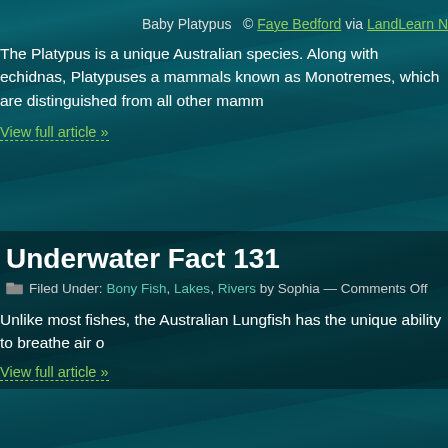Baby Platypus  © Faye Bedford via LandLearn N
The Platypus is a unique Australian species. Along with echidnas, Platypuses a mammals known as Monotremes, which are distinguished from all other mamm
View full article »
Underwater Fact 131
Filed Under: Bony Fish, Lakes, Rivers by Sophia — Comments Off
Unlike most fishes, the Australian Lungfish has the unique ability to breathe air o
View full article »